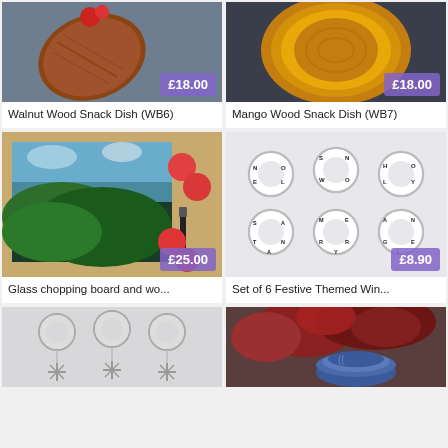[Figure (photo): Walnut Wood Snack Dish product photo with £18.00 price badge]
[Figure (photo): Mango Wood Snack Dish product photo with £18.00 price badge]
Walnut Wood Snack Dish (WB6)
Mango Wood Snack Dish (WB7)
[Figure (photo): Glass chopping board and wo... product photo with £25.00 price badge]
[Figure (photo): Set of 6 Festive Themed Win... product photo with £8.90 price badge]
Glass chopping board and wo...
Set of 6 Festive Themed Win...
[Figure (photo): Earrings with snowflake charms product photo (partial)]
[Figure (photo): Bowl in garden setting product photo (partial)]